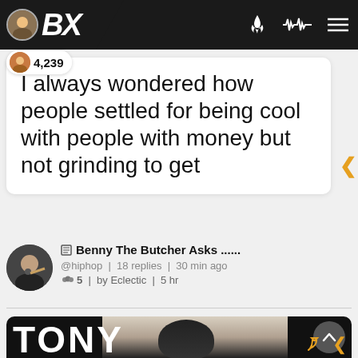BX | 4,239
I always wondered how people settled for being cool with people with money but not grinding to get
Benny The Butcher Asks ......
@hiphop | 18 replies | 30 min ago
5 | by Eclectic | 5 hr
[Figure (photo): Bottom card showing a person wearing a black hat with the text TONY visible at the bottom, dark background]